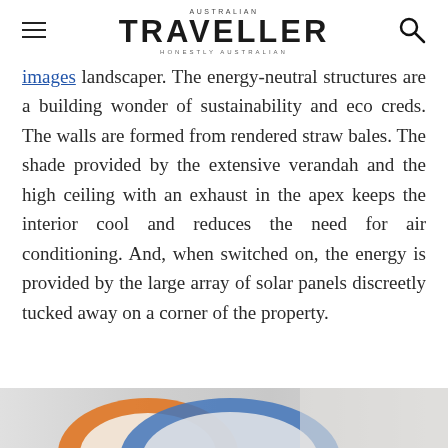AUSTRALIAN TRAVELLER HONESTLY AUSTRALIAN
images landscaper. The energy-neutral structures are a building wonder of sustainability and eco creds. The walls are formed from rendered straw bales. The shade provided by the extensive verandah and the high ceiling with an exhaust in the apex keeps the interior cool and reduces the need for air conditioning. And, when switched on, the energy is provided by the large array of solar panels discreetly tucked away on a corner of the property.
[Figure (photo): Bottom portion of a photo showing colorful curved structure, orange and blue tones visible at the bottom of the page]